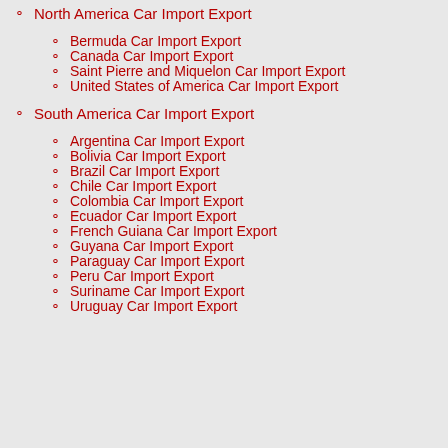North America Car Import Export
Bermuda Car Import Export
Canada Car Import Export
Saint Pierre and Miquelon Car Import Export
United States of America Car Import Export
South America Car Import Export
Argentina Car Import Export
Bolivia Car Import Export
Brazil Car Import Export
Chile Car Import Export
Colombia Car Import Export
Ecuador Car Import Export
French Guiana Car Import Export
Guyana Car Import Export
Paraguay Car Import Export
Peru Car Import Export
Suriname Car Import Export
Uruguay Car Import Export